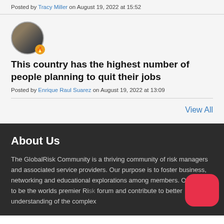Posted by Tracy Miller on August 19, 2022 at 15:52
[Figure (photo): Circular avatar photo of a person with a small orange badge icon]
This country has the highest number of people planning to quit their jobs
Posted by Enrique Raul Suarez on August 19, 2022 at 13:09
View All
About Us
The GlobalRisk Community is a thriving community of risk managers and associated service providers. Our purpose is to foster business, networking and educational explorations among members. Our goal is to be the worlds premier Ri... forum and contribute to better understanding of the complex...